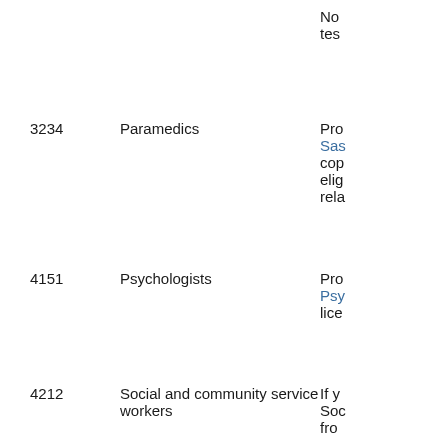No test
3234
Paramedics
Pro Sas cop elig rela
4151
Psychologists
Pro Psy lice
4212
Social and community service workers
If y Soc fro If y